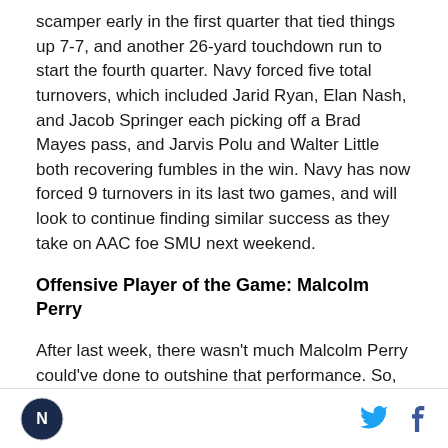scamper early in the first quarter that tied things up 7-7, and another 26-yard touchdown run to start the fourth quarter. Navy forced five total turnovers, which included Jarid Ryan, Elan Nash, and Jacob Springer each picking off a Brad Mayes pass, and Jarvis Polu and Walter Little both recovering fumbles in the win. Navy has now forced 9 turnovers in its last two games, and will look to continue finding similar success as they take on AAC foe SMU next weekend.
Offensive Player of the Game: Malcolm Perry
After last week, there wasn't much Malcolm Perry could've done to outshine that performance. So, instead, he simply turned in a 223 yard day on the
[Logo] [Twitter] [Facebook]